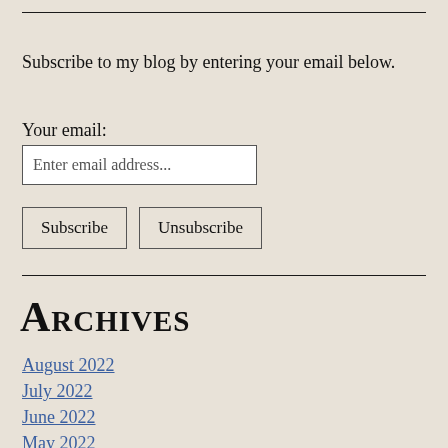Subscribe to my blog by entering your email below.
Your email:
Enter email address...
Subscribe
Unsubscribe
Archives
August 2022
July 2022
June 2022
May 2022
April 2022
March 2022